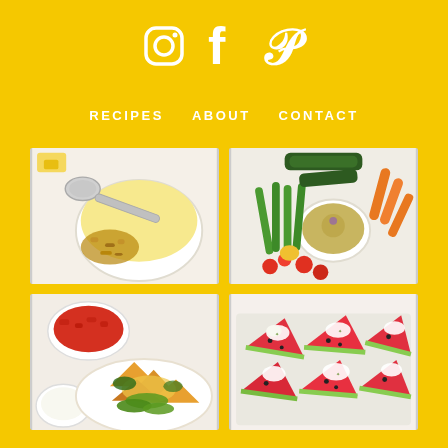[Figure (infographic): Social media icons: Instagram, Facebook, Pinterest in white on yellow background]
RECIPES   ABOUT   CONTACT
[Figure (photo): Top-left food photo: bowl with yellow cream/pudding and granola with a spoon]
[Figure (photo): Top-right food photo: vegetable platter with hummus dip, green beans, carrots, tomatoes, cucumbers]
[Figure (photo): Bottom-left food photo: nachos with avocado, salsa, and sour cream]
[Figure (photo): Bottom-right food photo: watermelon slices topped with white cheese and herbs on a tray]